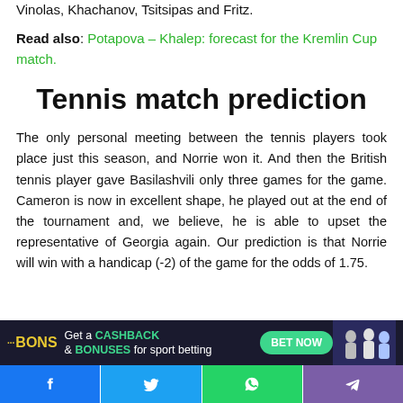Vinolas, Khachanov, Tsitsipas and Fritz.
Read also: Potapova – Khalep: forecast for the Kremlin Cup match.
Tennis match prediction
The only personal meeting between the tennis players took place just this season, and Norrie won it. And then the British tennis player gave Basilashvili only three games for the game. Cameron is now in excellent shape, he played out at the end of the tournament and, we believe, he is able to upset the representative of Georgia again. Our prediction is that Norrie will win with a handicap (-2) of the game for the odds of 1.75.
Was the post informative and helpful? Do you want to keep...
[Figure (infographic): Advertisement banner for BONS: Get a CASHBACK & BONUSES for sport betting with BET NOW button]
[Figure (infographic): Social media share buttons: Facebook, Twitter, WhatsApp, Telegram]